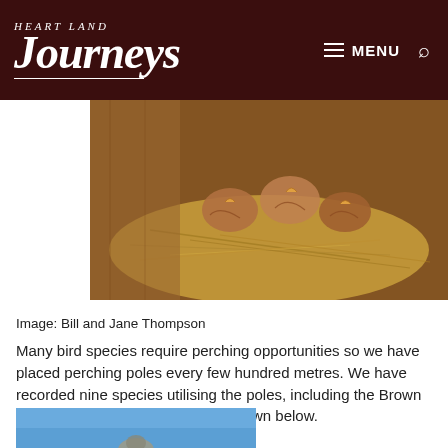Heart Land Journeys — MENU
[Figure (photo): Close-up photo of baby birds in a nest made of straw, inside what appears to be a wooden structure.]
Image: Bill and Jane Thompson
Many bird species require perching opportunities so we have placed perching poles every few hundred metres. We have recorded nine species utilising the poles, including the Brown Falcon and White Faced Heron shown below.
[Figure (photo): Partial photo of a bird perched on a pole against a blue sky background.]